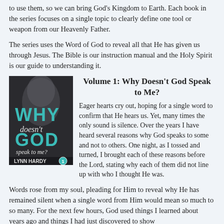to use them, so we can bring God's Kingdom to Earth. Each book in the series focuses on a single topic to clearly define one tool or weapon from our Heavenly Father.
The series uses the Word of God to reveal all that He has given us through Jesus. The Bible is our instruction manual and the Holy Spirit is our guide to understanding it.
[Figure (illustration): Book cover of 'Why Doesn't God Speak to Me?' by Lynn Hardy, Volume 1. Dark background with a person's face looking upward, teal lettering for WHY and GOD.]
Volume 1: Why Doesn't God Speak to Me?
Eager hearts cry out, hoping for a single word to confirm that He hears us. Yet, many times the only sound is silence. Over the years I have heard several reasons why God speaks to some and not to others. One night, as I tossed and turned, I brought each of these reasons before the Lord, stating why each of them did not line up with who I thought He was.
Words rose from my soul, pleading for Him to reveal why He has remained silent when a single word from Him would mean so much to so many. For the next few hours, God used things I learned about years ago and things I had just discovered to show